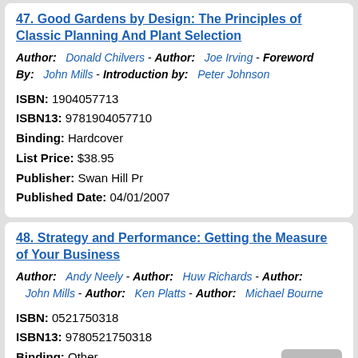47. Good Gardens by Design: The Principles of Classic Planning And Plant Selection
Author: Donald Chilvers - Author: Joe Irving - Foreword By: John Mills - Introduction by: Peter Johnson
ISBN: 1904057713
ISBN13: 9781904057710
Binding: Hardcover
List Price: $38.95
Publisher: Swan Hill Pr
Published Date: 04/01/2007
48. Strategy and Performance: Getting the Measure of Your Business
Author: Andy Neely - Author: Huw Richards - Author: John Mills - Author: Ken Platts - Author: Michael Bourne
ISBN: 0521750318
ISBN13: 9780521750318
Binding: Other
List Price: $84.0
Publisher: Cambridge Univ Pr